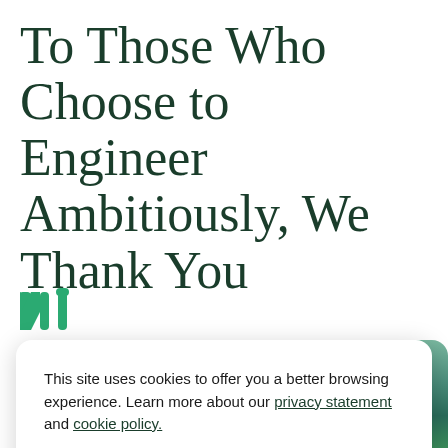To Those Who Choose to Engineer Ambitiously, We Thank You
[Figure (logo): NI (National Instruments) logo — stylized green 'ni' letters]
This site uses cookies to offer you a better browsing experience. Learn more about our privacy statement and cookie policy.